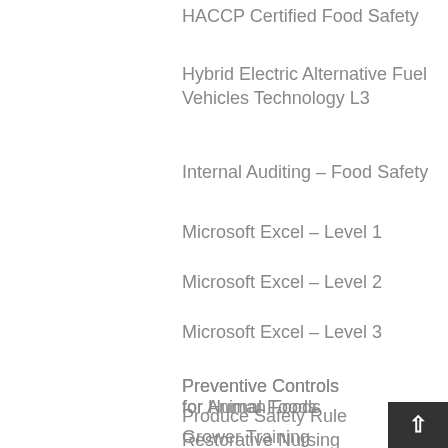HACCP Certified Food Safety
Hybrid Electric Alternative Fuel Vehicles Technology L3
Internal Auditing – Food Safety
Microsoft Excel – Level 1
Microsoft Excel – Level 2
Microsoft Excel – Level 3
Preventive Controls for Animal Foods
Preventive Controls for Human Foods
Produce Safety Rule Grower Training
Restorative Nursing Assistant